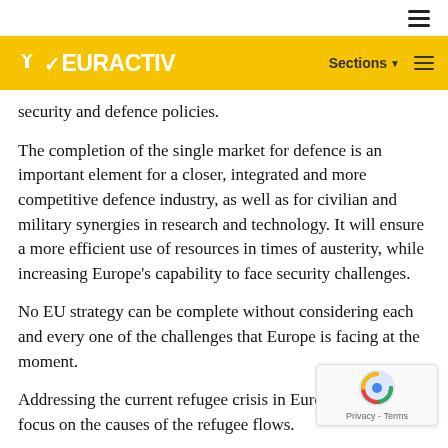EURACTIV — Sections
security and defence policies.
The completion of the single market for defence is an important element for a closer, integrated and more competitive defence industry, as well as for civilian and military synergies in research and technology. It will ensure a more efficient use of resources in times of austerity, while increasing Europe's capability to face security challenges.
No EU strategy can be complete without considering each and every one of the challenges that Europe is facing at the moment.
Addressing the current refugee crisis in Europe demands a focus on the causes of the refugee flows.